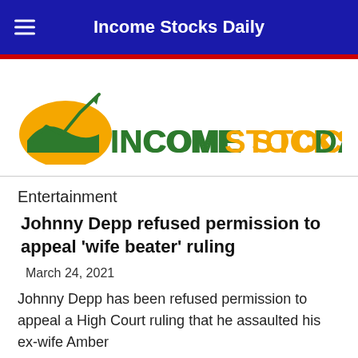Income Stocks Daily
[Figure (logo): Income Stocks Daily logo with sun and stock arrow graphic, text INCOMESTOCKSDAILY in green and orange]
Entertainment
Johnny Depp refused permission to appeal 'wife beater' ruling
March 24, 2021
Johnny Depp has been refused permission to appeal a High Court ruling that he assaulted his ex-wife Amber